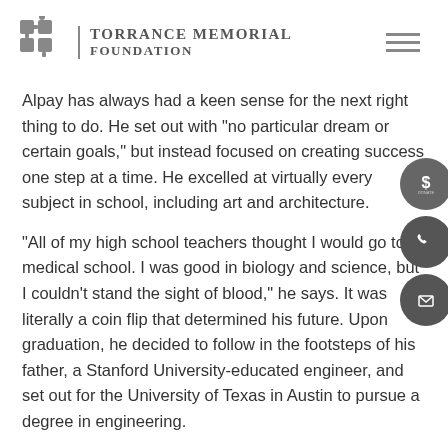Torrance Memorial Foundation
Alpay has always had a keen sense for the next right thing to do. He set out with “no particular dream or certain goals,” but instead focused on creating success one step at a time. He excelled at virtually every subject in school, including art and architecture.
“All of my high school teachers thought I would go to medical school. I was good in biology and science, but I couldn’t stand the sight of blood,” he says. It was literally a coin flip that determined his future. Upon graduation, he decided to follow in the footsteps of his father, a Stanford University-educated engineer, and set out for the University of Texas in Austin to pursue a degree in engineering.